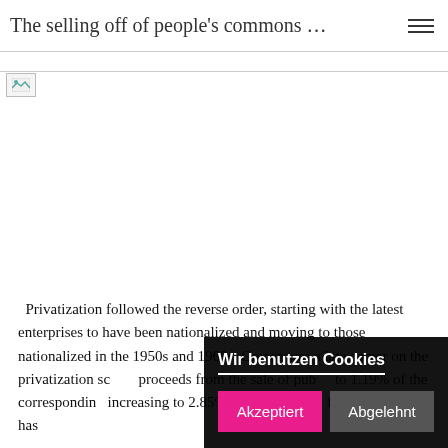The selling off of people's commons …
[Figure (other): Broken image placeholder icon in top-left of image area]
Privatization followed the reverse order, starting with the latest enterprises to have been nationalized and moving to those nationalized in the 1950s and 1960s. Greece was a late comer on the privatization sc… proceeds from the sale of pub… to 1.19% of the correspondin… increasing to 2.85% over the period 1993-2007. As it has